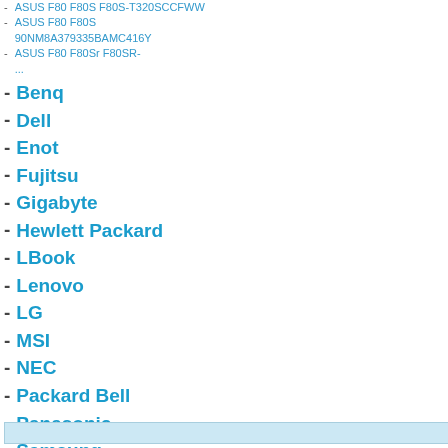- ASUS F80 F80S F80S-T320SCCFWW
- ASUS F80 F80S 90NM8A379335BAMC416Y
- ASUS F80 F80Sr F80SR-...
- Benq
- Dell
- Enot
- Fujitsu
- Gigabyte
- Hewlett Packard
- LBook
- Lenovo
- LG
- MSI
- NEC
- Packard Bell
- Panasonic
- Samsung
- Sony
- Toshiba
- ViewSonic
Процесор: AMD AMD Inte Inte Inte Inte Дру
Цена: от
ASUS U30Jt Black UI...
[Figure (photo): ASUS laptop with ASUS logo on blue screen background]
Search bar (light blue)